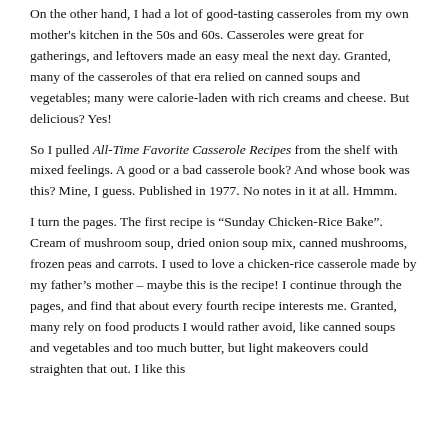On the other hand, I had a lot of good-tasting casseroles from my own mother's kitchen in the 50s and 60s. Casseroles were great for gatherings, and leftovers made an easy meal the next day. Granted, many of the casseroles of that era relied on canned soups and vegetables; many were calorie-laden with rich creams and cheese. But delicious? Yes!
So I pulled All-Time Favorite Casserole Recipes from the shelf with mixed feelings. A good or a bad casserole book? And whose book was this? Mine, I guess. Published in 1977. No notes in it at all. Hmmm.
I turn the pages. The first recipe is “Sunday Chicken-Rice Bake”. Cream of mushroom soup, dried onion soup mix, canned mushrooms, frozen peas and carrots. I used to love a chicken-rice casserole made by my father’s mother – maybe this is the recipe! I continue through the pages, and find that about every fourth recipe interests me. Granted, many rely on food products I would rather avoid, like canned soups and vegetables and too much butter, but light makeovers could straighten that out. I like this